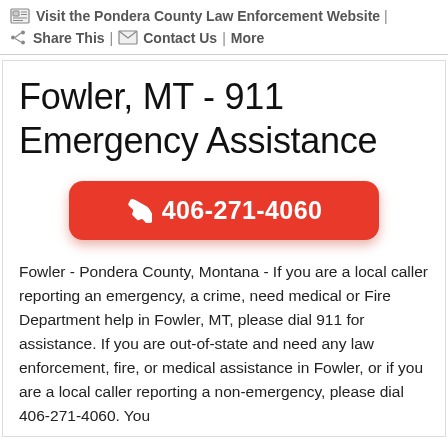Visit the Pondera County Law Enforcement Website | Share This | Contact Us | More
Fowler, MT - 911 Emergency Assistance
[Figure (other): Red rounded button with phone icon and phone number 406-271-4060]
Fowler - Pondera County, Montana - If you are a local caller reporting an emergency, a crime, need medical or Fire Department help in Fowler, MT, please dial 911 for assistance. If you are out-of-state and need any law enforcement, fire, or medical assistance in Fowler, or if you are a local caller reporting a non-emergency, please dial 406-271-4060. You